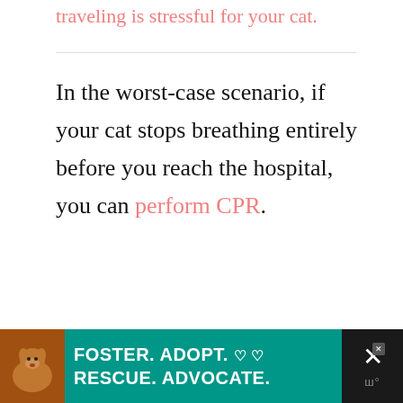traveling is stressful for your cat.
In the worst-case scenario, if your cat stops breathing entirely before you reach the hospital, you can perform CPR.
[Figure (infographic): Social interaction buttons: heart/like button (gray circle), share count badge showing 3 (pink), and share button (pink circle with share icon)]
[Figure (infographic): Advertisement banner: dog photo on left, teal background with text FOSTER. ADOPT. RESCUE. ADVOCATE. heart icons, close button on right]